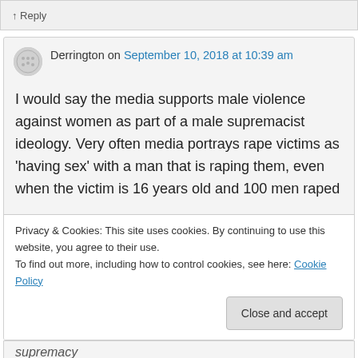↑ Reply
Derrington on September 10, 2018 at 10:39 am
I would say the media supports male violence against women as part of a male supremacist ideology. Very often media portrays rape victims as 'having sex' with a man that is raping them, even when the victim is 16 years old and 100 men raped
Privacy & Cookies: This site uses cookies. By continuing to use this website, you agree to their use. To find out more, including how to control cookies, see here: Cookie Policy
Close and accept
supremacy